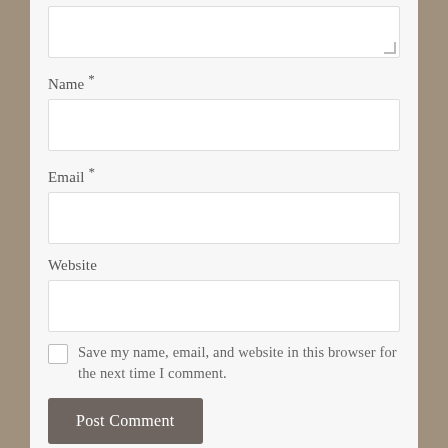[Figure (screenshot): Top portion of a comment form textarea (partially visible at top of page), white input box with resize handle at bottom-right corner]
Name *
[Figure (screenshot): Name input field, white rectangle with light gray border]
Email *
[Figure (screenshot): Email input field, white rectangle with light gray border]
Website
[Figure (screenshot): Website input field, white rectangle with light gray border]
Save my name, email, and website in this browser for the next time I comment.
[Figure (screenshot): Post Comment button, dark gray/brown rounded rectangle button]
Notify me of new comments via email.
Notify me of new posts via email.